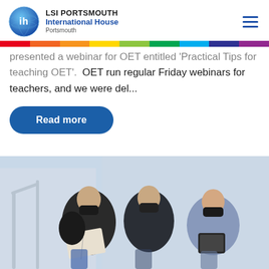[Figure (logo): LSI Portsmouth International House logo with blue globe icon and IH letters]
presented a webinar for OET entitled 'Practical Tips for teaching OET'.  OET run regular Friday webinars for teachers, and we were del...
Read more
[Figure (photo): Three students wearing black face masks sitting on stairs, looking at books and tablets]